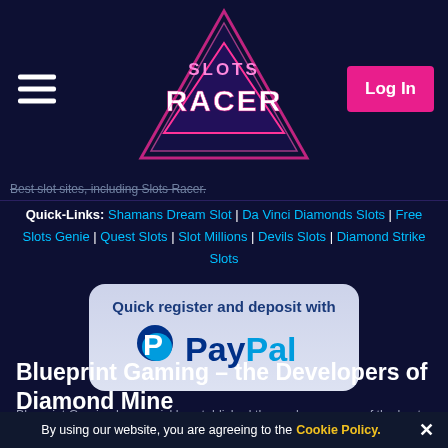[Figure (logo): Slots Racer logo with neon triangle and stylized text on dark background]
Best slot sites, including Slots Racer.
Quick-Links: Shamans Dream Slot | Da Vinci Diamonds Slots | Free Slots Genie | Quest Slots | Slot Millions | Devils Slots | Diamond Strike Slots
[Figure (logo): Quick register and deposit with PayPal logo on light grey rounded rectangle background]
Blueprint Gaming – the Developers of Diamond Mine
Blueprint Gaming have quickly established themselves as one of the best online slots developers on the market since
By using our website, you are agreeing to the Cookie Policy. ×